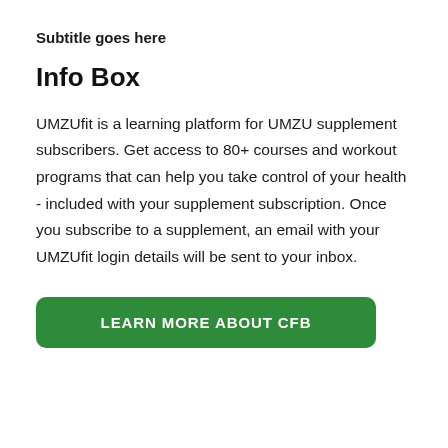Subtitle goes here
Info Box
UMZUfit is a learning platform for UMZU supplement subscribers. Get access to 80+ courses and workout programs that can help you take control of your health - included with your supplement subscription. Once you subscribe to a supplement, an email with your UMZUfit login details will be sent to your inbox.
LEARN MORE ABOUT CFB